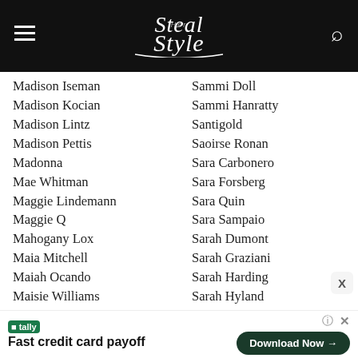Steal Her Style
Madison Iseman
Madison Kocian
Madison Lintz
Madison Pettis
Madonna
Mae Whitman
Maggie Lindemann
Maggie Q
Mahogany Lox
Maia Mitchell
Maiah Ocando
Maisie Williams
Maitland Ward
Maja Ivarsson
Makenzie Moss
Malin Akerman
Malu Trevejo
Mandy Lee
Mandy Moore
Sammi Doll
Sammi Hanratty
Santigold
Saoirse Ronan
Sara Carbonero
Sara Forsberg
Sara Quin
Sara Sampaio
Sarah Dumont
Sarah Graziani
Sarah Harding
Sarah Hyland
Sarah Jeffery
Sarah Paulson
Sarah Snyder
Sarai Jones
Sasha Lane
Sasha Pieterse
Saweetie
Fast credit card payoff
Download Now →